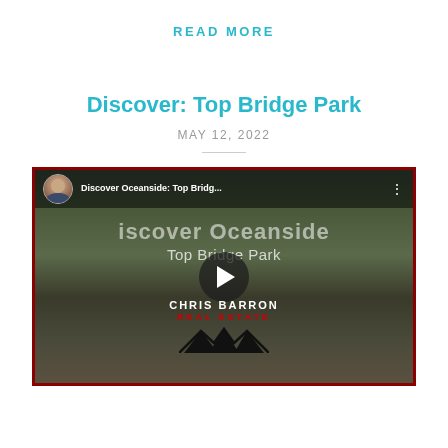READ MORE
Discover: Top Bridge Park
MAY 12, 2022
[Figure (screenshot): YouTube video thumbnail for 'Discover Oceanside: Top Bridge Park' by Chris Barron Real Estate, showing a scenic park with bridge and trees, with a play button overlay and Chris Barron Real Estate branding at the bottom.]